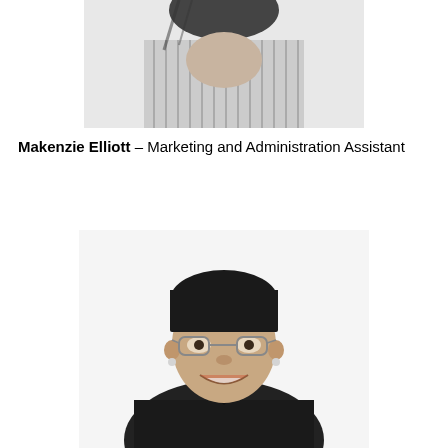[Figure (photo): Black and white partial photo of a person from the shoulders up, cropped at the top of the page — only lower portion of face/head and striped shirt visible]
Makenzie Elliott – Marketing and Administration Assistant
[Figure (photo): Black and white portrait photo of a smiling woman with short dark hair, glasses, and wearing a dark button-up shirt]